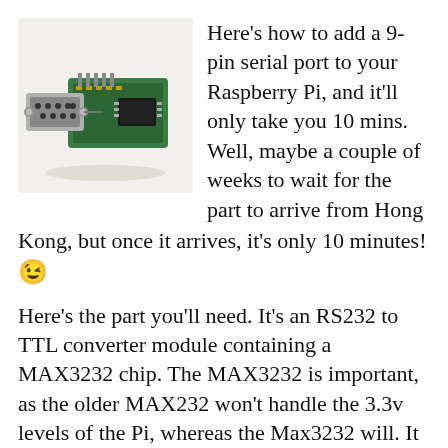[Figure (photo): Photo of an RS232 to TTL converter module with a 9-pin serial port connector and a green circuit board with a MAX3232 chip]
Here's how to add a 9-pin serial port to your Raspberry Pi, and it'll only take you 10 mins. Well, maybe a couple of weeks to wait for the part to arrive from Hong Kong, but once it arrives, it's only 10 minutes! 😉
Here's the part you'll need. It's an RS232 to TTL converter module containing a MAX3232 chip. The MAX3232 is important, as the older MAX232 won't handle the 3.3v levels of the Pi, whereas the Max3232 will. It comes with a 4-way cable for connecting the module to the